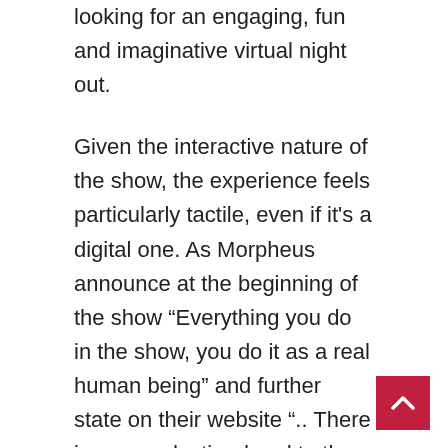looking for an engaging, fun and imaginative virtual night out.
Given the interactive nature of the show, the experience feels particularly tactile, even if it's a digital one. As Morpheus announce at the beginning of the show “Everything you do in the show, you do it as a real human being” and further state on their website “.. There is no pre-destined end to the story… The decisions you’ll make will create different outcomes, leading you down a wonderfully wacky path or a slippery slope to doom: you can decide.”, the audience is firmly in the driving seat. Naturally, the lack of a closed, linear narrative can lead to complex storytelling paths (or ‘decision trees’ as more frequently known in the data world). Responding to an